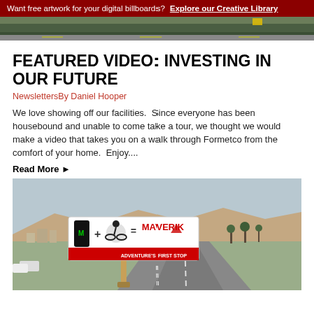Want free artwork for your digital billboards? Explore our Creative Library
[Figure (photo): Top strip of outdoor billboard scene, desert/highway landscape]
FEATURED VIDEO: INVESTING IN OUR FUTURE
NewslettersBy Daniel Hooper
We love showing off our facilities.  Since everyone has been housebound and unable to come take a tour, we thought we would make a video that takes you on a walk through Formetco from the comfort of your home.  Enjoy....
Read More ▶
[Figure (photo): Aerial photo of a Maverik billboard on a highway in a desert town, showing Monster Energy + cyclist = Maverik Adventure's First Stop advertisement]